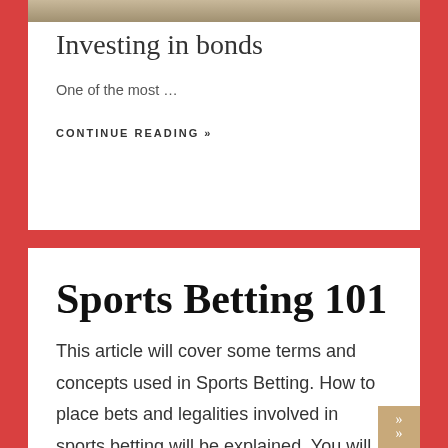[Figure (photo): Partial photo visible at top of first card, appears to be a nature or landscape image in muted tones]
Investing in bonds
One of the most …
CONTINUE READING »
Sports Betting 101
This article will cover some terms and concepts used in Sports Betting. How to place bets and legalities involved in sports betting will be explained. You will also learn about the types of bets and where pop over to this web-site place them. This is a comprehensive guide to Sports